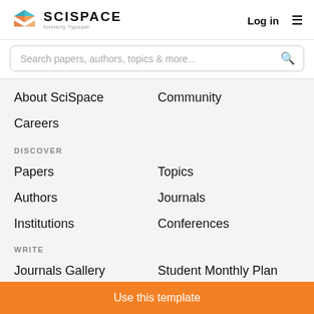SCISPACE formerly Typeset | Log in
Search papers, authors, topics & more...
About SciSpace
Community
Careers
DISCOVER
Papers
Topics
Authors
Journals
Institutions
Conferences
WRITE
Journals Gallery
Student Monthly Plan
Use this template